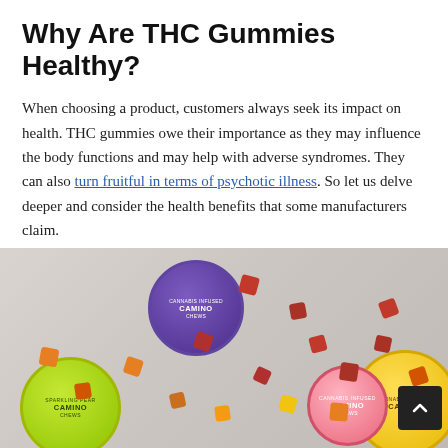Why Are THC Gummies Healthy?
When choosing a product, customers always seek its impact on health. THC gummies owe their importance as they may influence the body functions and may help with adverse syndromes. They can also turn fruitful in terms of psychotic illness. So let us delve deeper and consider the health benefits that some manufacturers claim.
[Figure (photo): Overhead photo of three open tins of Camino brand cannabis gummies (purple, green/yellow, and pink/yellow) with colorful gummy candies scattered around them on a light gray surface. A dark scroll-to-top button is visible in the bottom right corner.]